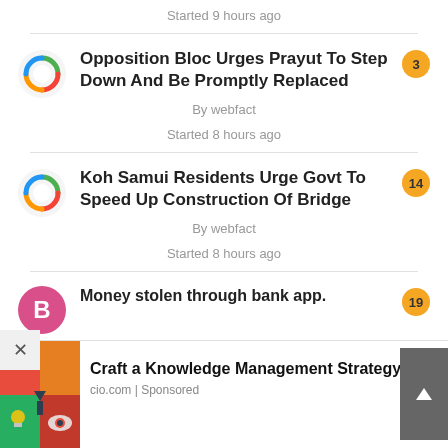Started 9 hours ago
Opposition Bloc Urges Prayut To Step Down And Be Promptly Replaced
By webfact
Started 8 hours ago
Koh Samui Residents Urge Govt To Speed Up Construction Of Bridge
By webfact
Started 8 hours ago
Money stolen through bank app.
Craft a Knowledge Management Strategy
cio.com | Sponsored